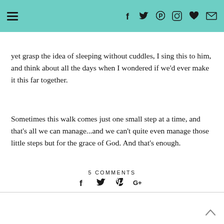Navigation and social icons header bar
yet grasp the idea of sleeping without cuddles, I sing this to him, and think about all the days when I wondered if we'd ever make it this far together.
Sometimes this walk comes just one small step at a time, and that's all we can manage...and we can't quite even manage those little steps but for the grace of God. And that's enough.
5 COMMENTS
Share icons: Facebook, Twitter, Pinterest, Google+